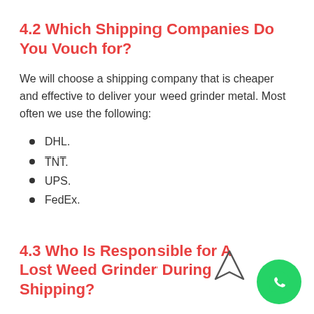4.2 Which Shipping Companies Do You Vouch for?
We will choose a shipping company that is cheaper and effective to deliver your weed grinder metal. Most often we use the following:
DHL.
TNT.
UPS.
FedEx.
4.3 Who Is Responsible for A Lost Weed Grinder During Shipping?